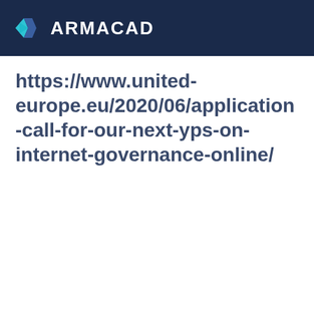ARMACAD
https://www.united-europe.eu/2020/06/application-call-for-our-next-yps-on-internet-governance-online/